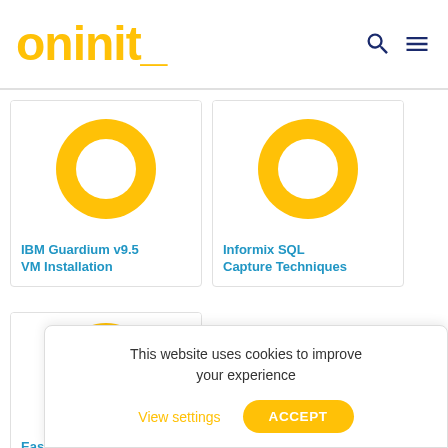oninit_
[Figure (illustration): Card with large yellow O logo for IBM Guardium v9.5 VM Installation]
[Figure (illustration): Card with large yellow O logo for Informix SQL Capture Techniques]
[Figure (illustration): Card with large yellow O logo (partial) for Easy IWA: Part Creating and]
This website uses cookies to improve your experience
View settings
ACCEPT